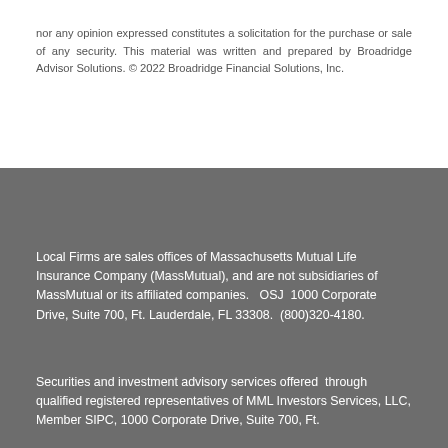nor any opinion expressed constitutes a solicitation for the purchase or sale of any security. This material was written and prepared by Broadridge Advisor Solutions. © 2022 Broadridge Financial Solutions, Inc.
Local Firms are sales offices of Massachusetts Mutual Life Insurance Company (MassMutual), and are not subsidiaries of MassMutual or its affiliated companies.  OSJ  1000 Corporate Drive, Suite 700, Ft. Lauderdale, FL 33308.  (800)320-4180.
Securities and investment advisory services offered  through qualified registered representatives of MML Investors Services, LLC, Member SIPC, 1000 Corporate Drive, Suite 700, Ft.